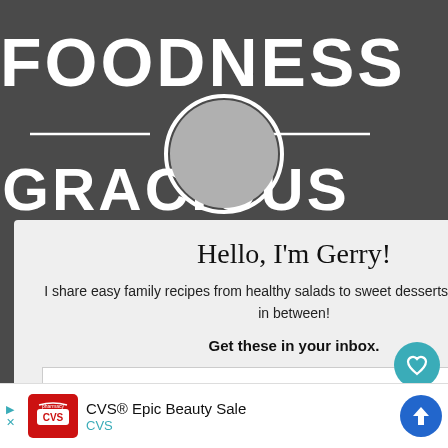[Figure (screenshot): Screenshot of Foodness Gracious website with a newsletter signup popup. Dark gray background with 'FOODNESS' and 'GRACIOUS' text in white bold letters. A circular profile icon overlaps the top of a light gray popup modal. The modal contains 'Hello, I'm Gerry!' heading, descriptive text about easy family recipes, 'Get these in your inbox.' call to action, and an email input field. A sidebar on the right shows a teal heart icon with count '1' and a share icon. Bottom shows 'COOK' partial text. An advertisement bar at the bottom shows CVS Epic Beauty Sale.]
FOODNESS
GRACIOUS
Hello, I'm Gerry!
I share easy family recipes from healthy salads to sweet desserts and everything in between!
Get these in your inbox.
ENTER EMAIL ADDRESS
COOK
1
WHAT'S NEXT → Buffalo Chicken...
CVS® Epic Beauty Sale CVS